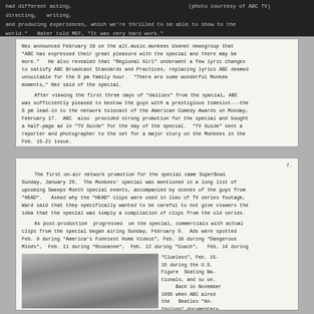had different acting, (photo courtesy of ABC TV) directing, writing, and producing experiences, which we're thrilled to be able to show to the world." Nater told MEF, "It was very hard work."
Nez announced February 10 on the alt.music.monkees Usenet newsgroup that "ABC has expressed their great pleasure with the special and there may be more." He also revealed that "Regional Girl" underwent a few lyric changes to satisfy ABC Broadcast Standards and Practices, replacing lyrics ABC deemed unsuitable for the 8 pm family hour. "There are some wonderful Monkee moments," Nez said of the special. After viewing the first three days of "dailies" from the special, ABC was sufficiently pleased to bestow the guys with a prestigious timeslot---the 8 pm lead-in to the network telecast of the American Comedy Awards on Monday, February 17. ABC also provided strong promotion for the special and bought a half-page ad in "TV Guide" for the day of the special. "TV Guide" sent a reporter and photographer to the set for a major story on the Monkees in the Feb. 15-21 issue.
7. The first on-air network promotion for the special came SuperBowl Sunday, January 26. The Monkees' special was mentioned in a long list of upcoming Sweeps Month special events, accompanied by scenes of the guys from "HEAD". Asked why the "HEAD" clips were used in lieu of TV series footage, Ward said that they specifically wanted to be careful to not give viewers the idea that the special was simply a compilation of clips from the old series. As post-production progressed on the special, commercials with actual clips from the special began airing Sunday, February 9. Ads were spotted Feb. 9 during "America's Funniest Home Videos", Feb. 10 during "Dangerous Minds", Feb. 11 during "Roseanne", Feb. 12 during "Coach", Feb. 14 during "Clueless", Feb. 15-16 during the U.S. Figure Skating Nationals, and so on. Back in November 1995 when ABC aired the Beatles "Anthology" documentary, network shows were peppered with Beatles
[Figure (photo): Black and white photograph of a person, likely one of the Monkees, shown from the chest up]